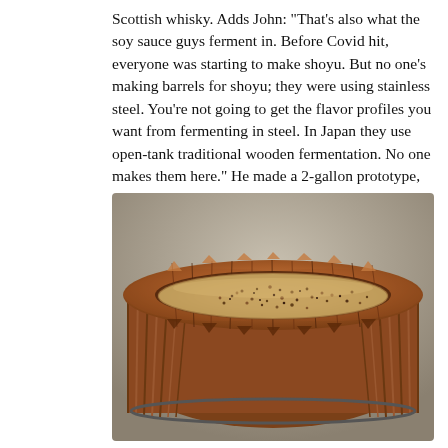Scottish whisky. Adds John: "That's also what the soy sauce guys ferment in. Before Covid hit, everyone was starting to make shoyu. But no one's making barrels for shoyu; they were using stainless steel. You're not going to get the flavor profiles you want from fermenting in steel. In Japan they use open-tank traditional wooden fermentation. No one makes them here." He made a 2-gallon prototype, and things took off.
[Figure (photo): A wooden open-tank fermentation vessel (traditional Japanese style) filled with grain/koji mixture, viewed from above. The circular wooden tub has alternating wood stave construction with a round interior filled with beige and dark-speckled fermentation grain.]